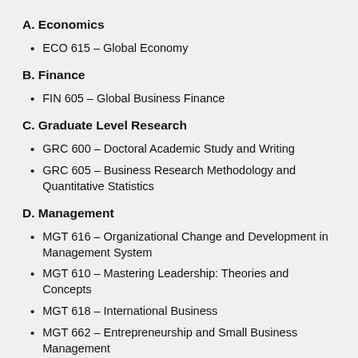A. Economics
ECO 615 – Global Economy
B. Finance
FIN 605 – Global Business Finance
C. Graduate Level Research
GRC 600 – Doctoral Academic Study and Writing
GRC 605 – Business Research Methodology and Quantitative Statistics
D. Management
MGT 616 – Organizational Change and Development in Management System
MGT 610 – Mastering Leadership: Theories and Concepts
MGT 618 – International Business
MGT 662 – Entrepreneurship and Small Business Management